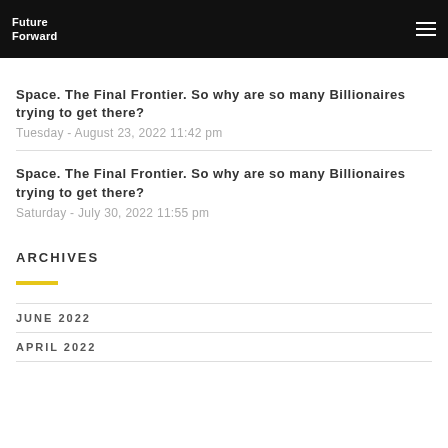Future Forward
Space. The Final Frontier. So why are so many Billionaires trying to get there?
Tuesday - August 23, 2022 11:42 pm
Space. The Final Frontier. So why are so many Billionaires trying to get there?
Saturday - July 30, 2022 11:55 pm
ARCHIVES
JUNE 2022
APRIL 2022